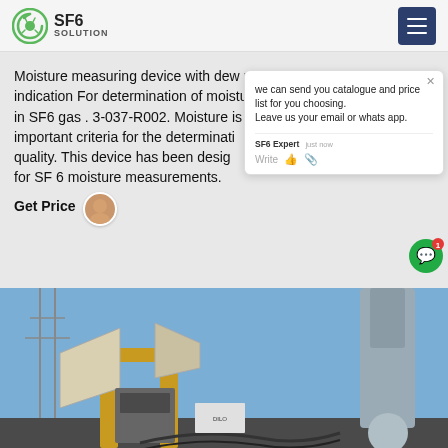SF6 SOLUTION
Moisture measuring device with dew point indication For determination of moisture content in SF6 gas . 3-037-R002. Moisture is the most important criteria for the determination of gas quality. This device has been designed specially for SF 6 moisture measurements.
Get Price
[Figure (screenshot): Chat popup overlay showing: 'we can send you catalogue and price list for you choosing. Leave us your email or whatsapp.' with SF6 Expert agent label and 'just now' timestamp, write/emoji input bar]
[Figure (photo): Outdoor industrial electrical substation with yellow SF6 gas handling equipment, open panels, hoses/piping visible against blue sky with transmission infrastructure in background]